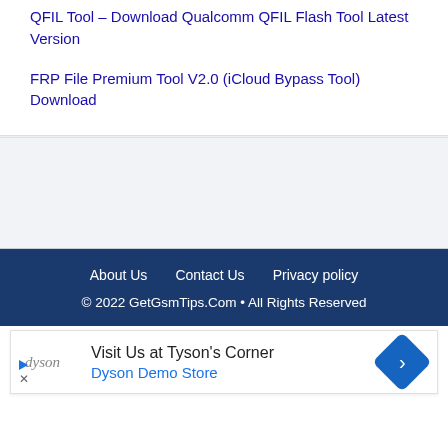QFIL Tool – Download Qualcomm QFIL Flash Tool Latest Version
FRP File Premium Tool V2.0 (iCloud Bypass Tool) Download
About Us   Contact Us   Privacy policy
© 2022 GetGsmTips.Com • All Rights Reserved
[Figure (other): Advertisement banner: Dyson – Visit Us at Tyson's Corner, Dyson Demo Store]